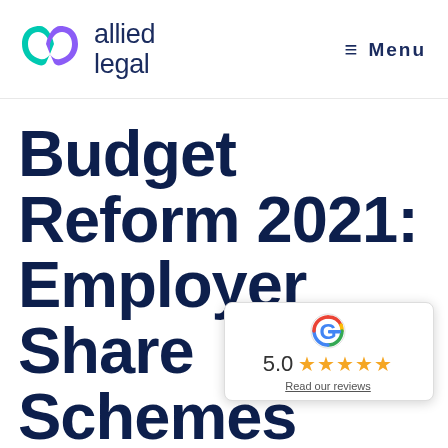[Figure (logo): Allied Legal logo with stylized X/infinity symbol in teal and purple, next to text 'allied legal' in dark navy]
≡ Menu
Budget Reform 2021: Employee Share Schemes
[Figure (infographic): Google review widget showing 5.0 star rating with 5 gold stars and a 'Read our reviews' link]